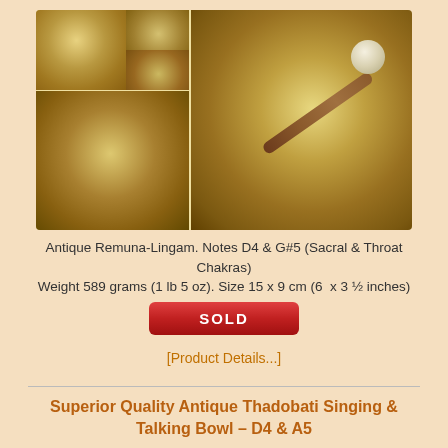[Figure (photo): Multiple views of antique Remuna-Lingam singing bowls with wooden mallet]
Antique Remuna-Lingam. Notes D4 & G#5 (Sacral & Throat Chakras)
Weight 589 grams (1 lb 5 oz). Size 15 x 9 cm (6  x 3 ½ inches)
SOLD
[Product Details...]
Superior Quality Antique Thadobati Singing & Talking Bowl – D4 & A5